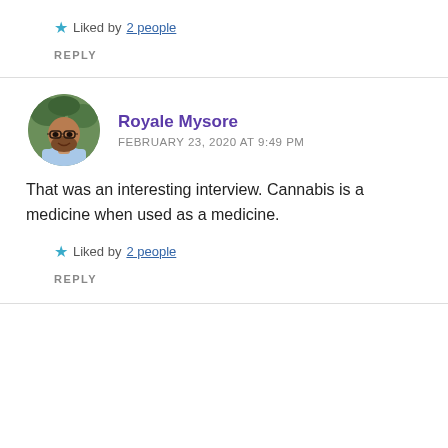Liked by 2 people
REPLY
Royale Mysore
FEBRUARY 23, 2020 AT 9:49 PM
That was an interesting interview. Cannabis is a medicine when used as a medicine.
Liked by 2 people
REPLY